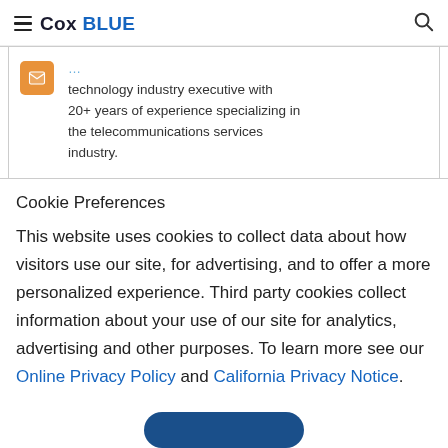Cox BLUE
technology industry executive with 20+ years of experience specializing in the telecommunications services industry.
Cookie Preferences
This website uses cookies to collect data about how visitors use our site, for advertising, and to offer a more personalized experience. Third party cookies collect information about your use of our site for analytics, advertising and other purposes. To learn more see our Online Privacy Policy and California Privacy Notice.